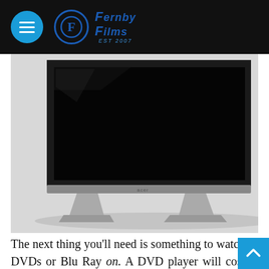Fernby Films
[Figure (photo): A large flat-screen monitor/TV (Acer branded) viewed from a slight angle, showing a black screen, with silver stand feet, on a white background.]
The next thing you'll need is something to DVDs or Blu Ray on. A DVD player will cost you something from $50 to $500, and the new and Blu Ra...